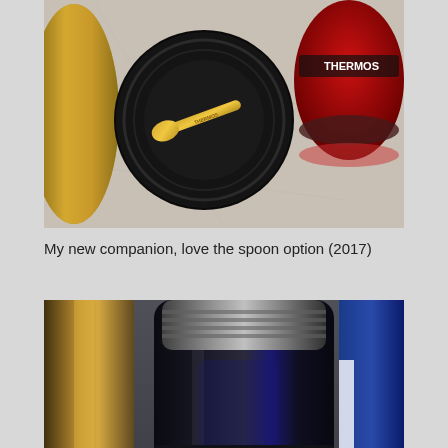[Figure (photo): Top-down view of a Thermos food jar lid with a built-in spoon and a red Thermos container in the background, on a marble surface]
My new companion, love the spoon option (2017)
[Figure (photo): Close-up of a black Thermos brand stainless steel food jar showing the Thermos logo and rating label, with the lid and inner bowl visible, and a gold thermos in the background]